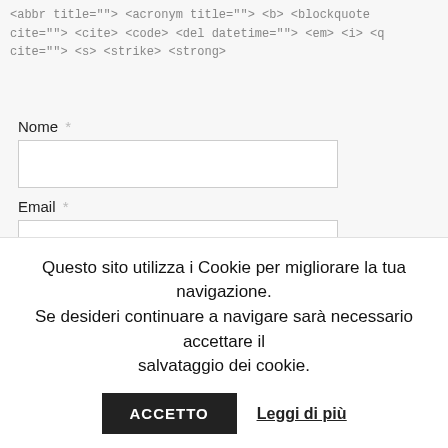<abbr title=""> <acronym title=""> <b> <blockquote cite=""> <cite> <code> <del datetime=""> <em> <i> <q cite=""> <s> <strike> <strong>
Nome *
Email *
Sito web
Inserisci una risposta in cifre:
19 − due =
Questo sito utilizza i Cookie per migliorare la tua navigazione. Se desideri continuare a navigare sarà necessario accettare il salvataggio dei cookie.
ACCETTO
Leggi di più